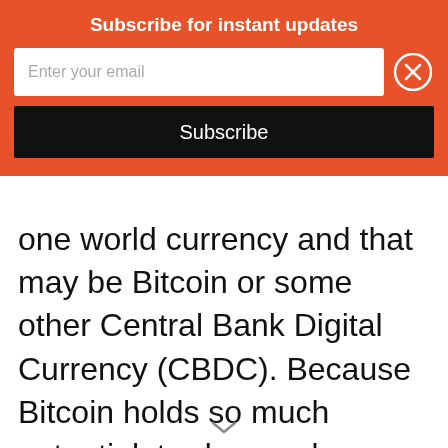Subscribe for instant updates
[Figure (other): Email subscription widget with text input field showing placeholder 'Enter your email', a close (X) button, and a black 'Subscribe' button, all on an orange-red background.]
one world currency and that may be Bitcoin or some other Central Bank Digital Currency (CBDC). Because Bitcoin holds so much potential, traders and investors want to have a view of Bitcoin price prediction